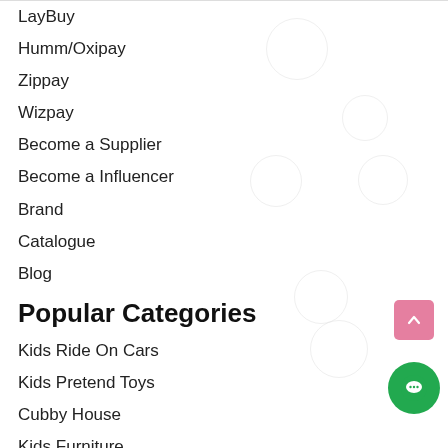LayBuy
Humm/Oxipay
Zippay
Wizpay
Become a Supplier
Become a Influencer
Brand
Catalogue
Blog
Popular Categories
Kids Ride On Cars
Kids Pretend Toys
Cubby House
Kids Furniture
Trampoline
Christmas